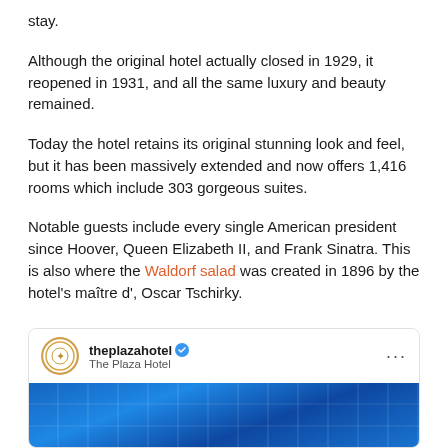stay.
Although the original hotel actually closed in 1929, it reopened in 1931, and all the same luxury and beauty remained.
Today the hotel retains its original stunning look and feel, but it has been massively extended and now offers 1,416 rooms which include 303 gorgeous suites.
Notable guests include every single American president since Hoover, Queen Elizabeth II, and Frank Sinatra. This is also where the Waldorf salad was created in 1896 by the hotel's maître d', Oscar Tschirky.
[Figure (screenshot): Instagram post from theplazahotel (The Plaza Hotel) showing a blue glass building facade photograph, with verified blue checkmark and three-dot menu.]